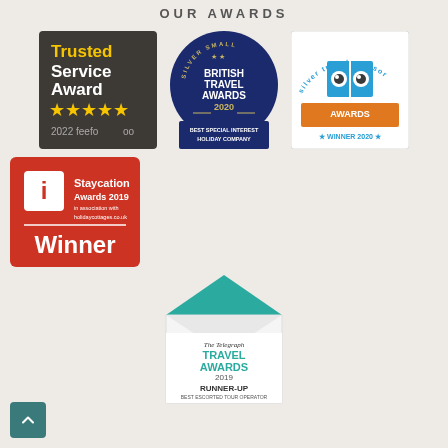OUR AWARDS
[Figure (logo): Trusted Service Award 2022 feefo - dark grey/charcoal background with yellow stars]
[Figure (logo): Silver Small British Travel Awards 2020 - Best Special Interest Holiday Company - navy badge]
[Figure (logo): Silver Travel Advisor Awards - Winner 2020 - blue/orange logo with book icon]
[Figure (logo): Staycation Awards 2019 in association with holidaycottages.co.uk - Winner - red badge]
[Figure (logo): The Telegraph Travel Awards 2019 - Runner-Up Best Escorted Tour Operator - teal envelope shape]